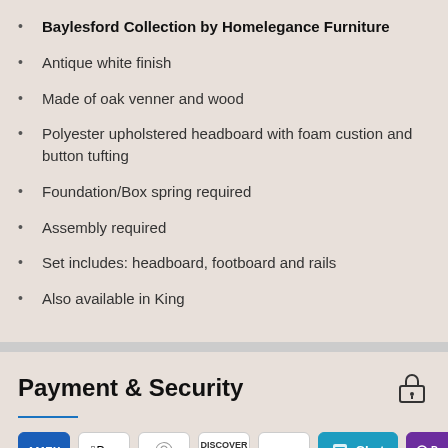Baylesford Collection by Homelegance Furniture
Antique white finish
Made of oak venner and wood
Polyester upholstered headboard with foam custion and button tufting
Foundation/Box spring required
Assembly required
Set includes: headboard, footboard and rails
Also available in King
Payment & Security
[Figure (logo): Payment method icons: American Express, Apple Pay, Diners Club, Discover, Meta Pay, Chat, OPay, Visa]